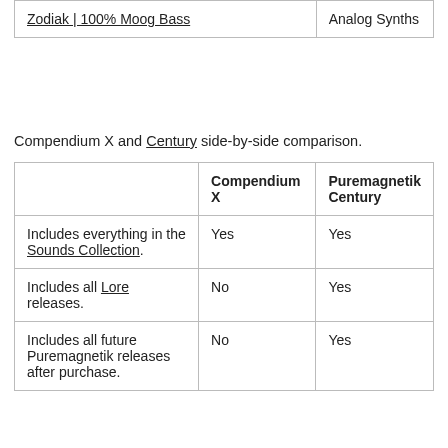|  |  |
| --- | --- |
| Zodiak | 100% Moog Bass | Analog Synths |
Compendium X and Century side-by-side comparison.
|  | Compendium X | Puremagnetik Century |
| --- | --- | --- |
| Includes everything in the Sounds Collection. | Yes | Yes |
| Includes all Lore releases. | No | Yes |
| Includes all future Puremagnetik releases after purchase. | No | Yes |